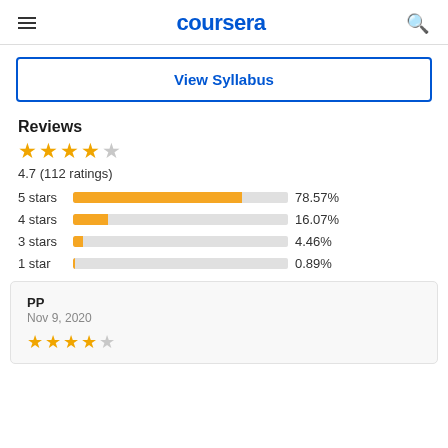coursera
View Syllabus
Reviews
4.7 (112 ratings)
[Figure (bar-chart): Star ratings distribution]
PP
Nov 9, 2020